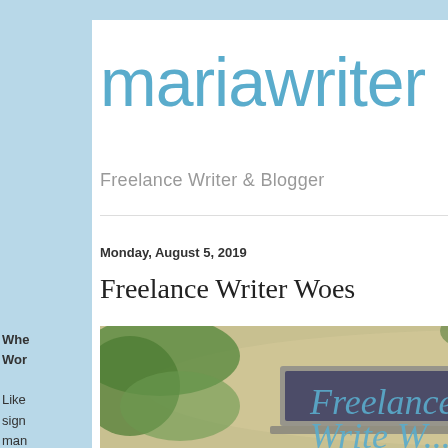mariawriter
Freelance Writer & Blogger
Monday, August 5, 2019
Freelance Writer Woes
[Figure (photo): Blog post header image showing a laptop on a wooden surface with text 'Freelance Write...' overlaid in blue italic font, with green plants and a smartphone visible]
Whe... Wor... Like... sign... man... surp...